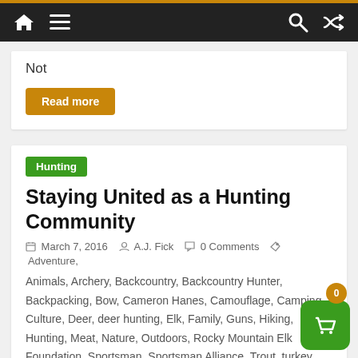Navigation bar with home, menu, search, and shuffle icons
Not
Read more
Hunting
Staying United as a Hunting Community
March 7, 2016  A.J. Fick  0 Comments  Adventure, Animals, Archery, Backcountry, Backcountry Hunter, Backpacking, Bow, Cameron Hanes, Camouflage, Camping, Culture, Deer, deer hunting, Elk, Family, Guns, Hiking, Hunting, Meat, Nature, Outdoors, Rocky Mountain Elk Foundation, Sportsman, Sportsman Alliance, Trout, turkey, Venison, Wild Game, Wild Sheep Foundation, Wilderness, Wildlife